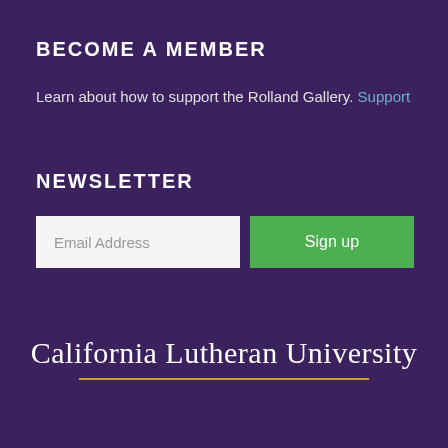BECOME A MEMBER
Learn about how to support the Rolland Gallery. Support
NEWSLETTER
Email Address
Sign up
[Figure (logo): California Lutheran University wordmark with gold underline on purple background]